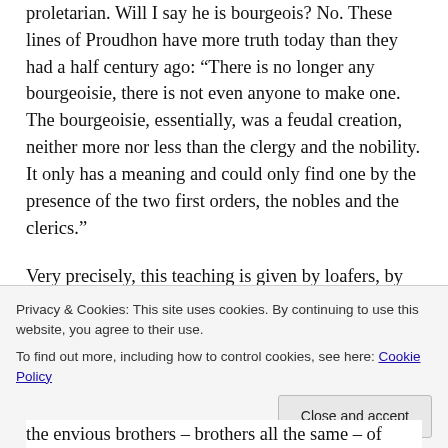proletarian. Will I say he is bourgeois? No. These lines of Proudhon have more truth today than they had a half century ago: “There is no longer any bourgeoisie, there is not even anyone to make one. The bourgeoisie, essentially, was a feudal creation, neither more nor less than the clergy and the nobility. It only has a meaning and could only find one by the presence of the two first orders, the nobles and the clerics.”
Very precisely, this teaching is given by loafers, by the rotten whose woes have aroused demagogic passions. We would speak poorly by calling them to revolt; there is in revolt a holy
the envious brothers – brothers all the same – of
Privacy & Cookies: This site uses cookies. By continuing to use this website, you agree to their use.
To find out more, including how to control cookies, see here: Cookie Policy
Close and accept